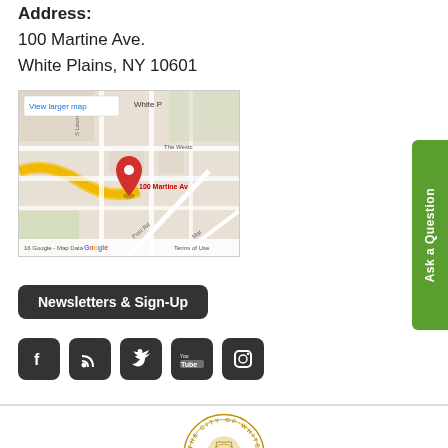Address:
100 Martine Ave.
White Plains, NY 10601
[Figure (map): Google Map showing 100 Martine Ave, White Plains NY with a red location pin. Shows surrounding streets including S Lexington Ave, Post Rd, and Martine Ave. Shows 'The Westc...' label. Has 'View larger map' button. Footer shows '16 Google - Map Data  Terms of Use'.]
[Figure (other): Green vertical 'Ask a Question' button on right side]
Newsletters & Sign-Up
[Figure (other): Social media icons: Facebook, RSS feed, Twitter, YouTube, Instagram]
[Figure (logo): The City of White Plains circular seal/logo]